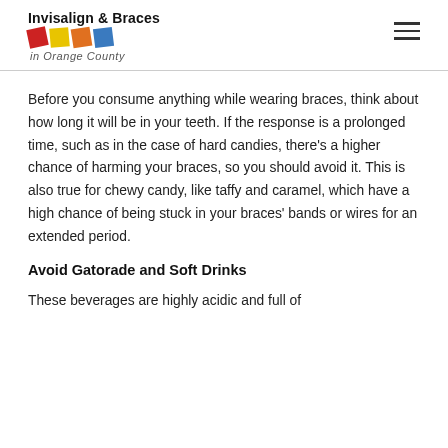Invisalign & Braces in Orange County
Before you consume anything while wearing braces, think about how long it will be in your teeth. If the response is a prolonged time, such as in the case of hard candies, there's a higher chance of harming your braces, so you should avoid it. This is also true for chewy candy, like taffy and caramel, which have a high chance of being stuck in your braces' bands or wires for an extended period.
Avoid Gatorade and Soft Drinks
These beverages are highly acidic and full of